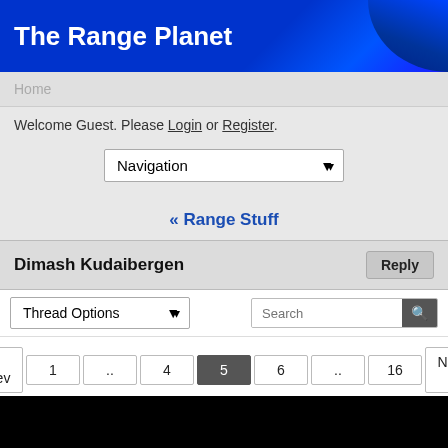The Range Planet
Home
Welcome Guest. Please Login or Register.
Navigation (dropdown)
« Range Stuff
Dimash Kudaibergen
Thread Options (dropdown) | Search | Reply
« Prev  1  ..  4  5  6  ..  16  Next »
Braden
Vocal Expert
★★★★
Jul 20, 2020 at 9:03pm